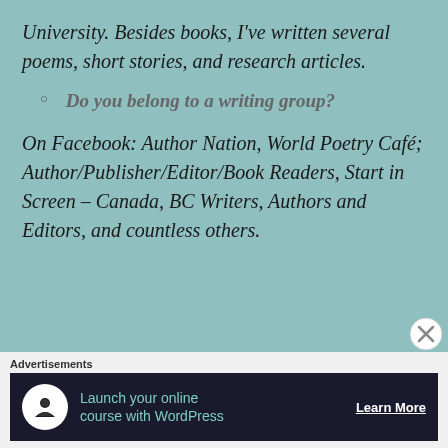University. Besides books, I've written several poems, short stories, and research articles.
Do you belong to a writing group?
On Facebook: Author Nation, World Poetry Café; Author/Publisher/Editor/Book Readers, Start in Screen – Canada, BC Writers, Authors and Editors, and countless others.
Advertisements
[Figure (infographic): Advertisement banner: Launch your online course with WordPress. Learn More button. Dark background with teal icon and text.]